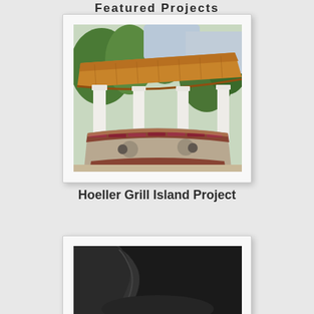Featured Projects
[Figure (photo): Outdoor grill island with a curved brick and stucco bar under a wooden pergola supported by white columns, surrounded by trees]
Hoeller Grill Island Project
[Figure (photo): Partial view of a black leather chair or furniture item, cropped at bottom of page]